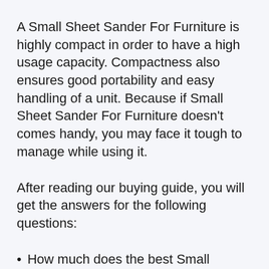A Small Sheet Sander For Furniture is highly compact in order to have a high usage capacity. Compactness also ensures good portability and easy handling of a unit. Because if Small Sheet Sander For Furniture doesn't comes handy, you may face it tough to manage while using it.
After reading our buying guide, you will get the answers for the following questions:
How much does the best Small